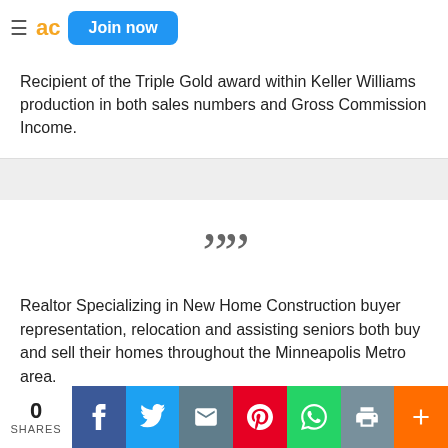Join now
Recipient of the Triple Gold award within Keller Williams production in both sales numbers and Gross Commission Income.
Realtor Specializing in New Home Construction buyer representation, relocation and assisting seniors both buy and sell their homes throughout the Minneapolis Metro area.
0 SHARES | Facebook | Twitter | Email | Pinterest | WhatsApp | Print | +